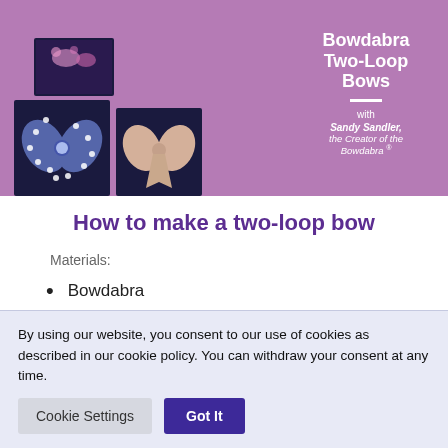[Figure (photo): Purple/mauve banner showing Bowdabra Two-Loop Bows product with photos of colorful fabric bows and polka-dot ribbon bows on dark backgrounds, with text 'Bowdabra Two-Loop Bows with Sandy Sandler, the Creator of the Bowdabra']
How to make a two-loop bow
Materials:
Bowdabra
By using our website, you consent to our use of cookies as described in our cookie policy. You can withdraw your consent at any time.